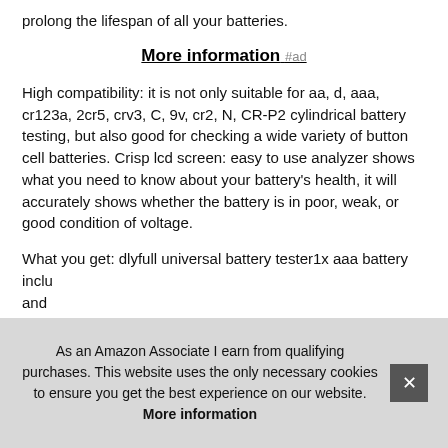prolong the lifespan of all your batteries.
More information #ad
High compatibility: it is not only suitable for aa, d, aaa, cr123a, 2cr5, crv3, C, 9v, cr2, N, CR-P2 cylindrical battery testing, but also good for checking a wide variety of button cell batteries. Crisp lcd screen: easy to use analyzer shows what you need to know about your battery's health, it will accurately shows whether the battery is in poor, weak, or good condition of voltage.
What you get: dlyfull universal battery tester1x aaa battery inclu and cha for b
As an Amazon Associate I earn from qualifying purchases. This website uses the only necessary cookies to ensure you get the best experience on our website. More information